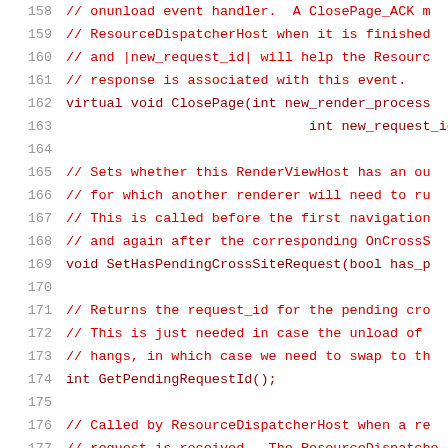Code snippet lines 158-178 showing C++ source code with comments and method declarations including ClosePage, SetHasPendingCrossSiteRequest, GetPendingRequestId, and CrossSiteResponse methods